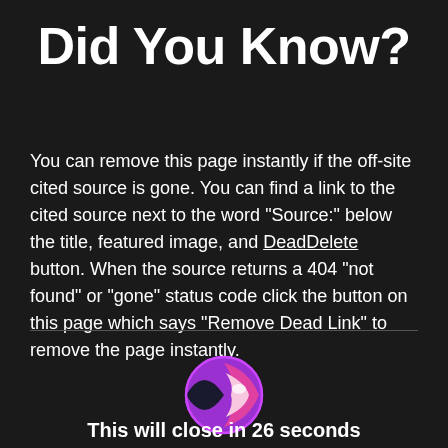Did You Know?
You can remove this page instantly if the off-site cited source is gone. You can find a link to the cited source next to the word "Source:" below the title, featured image, and DeadDelete button. When the source returns a 404 "not found" or "gone" status code click the button on this page which says "Remove Dead Link" to remove the page instantly.
[Figure (logo): Circular logo with pink/magenta and white design on purple background]
This will close in 26 seconds